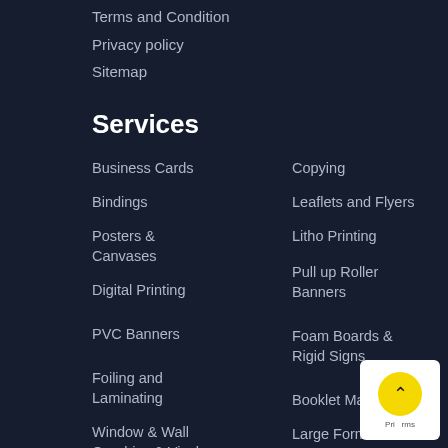Terms and Condition
Privacy policy
Sitemap
Services
Business Cards
Copying
Bindings
Leaflets and Flyers
Posters & Canvases
Litho Printing
Digital Printing
Pull up Roller Banners
PVC Banners
Foam Boards & Rigid Signs
Foiling and Laminating
Booklet Making
Window & Wall Graphics & Vinyls
Large Format Printing